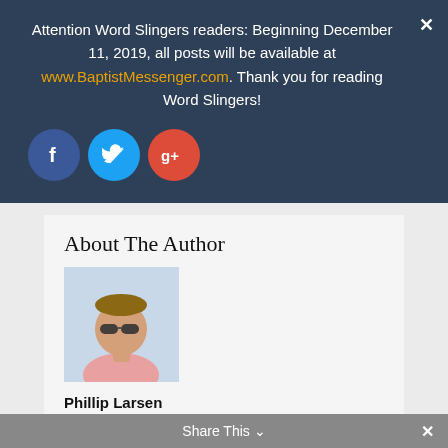Attention Word Slingers readers: Beginning December 11, 2019, all posts will be available at www.BaptistMessenger.com. Thank you for reading Word Slingers!
[Figure (other): Social media icons: Facebook (blue circle with f), Twitter (light blue circle with bird icon), Google+ (red circle with g+)]
About The Author
[Figure (photo): Headshot of Phillip Larsen, a young man wearing sunglasses and a pink shirt, photographed outdoors]
Phillip Larsen
http://larsenphillip.wordpress.com/
Phillip Larsen is a follower of Christ and a member of West Metro Community
Share This